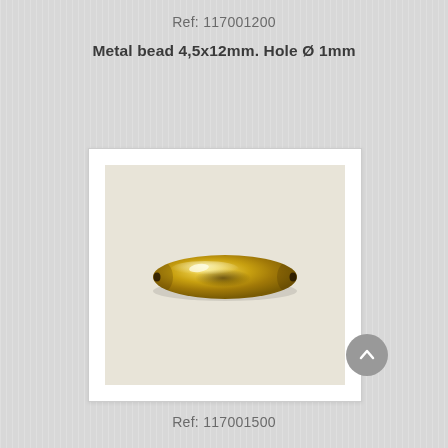Ref: 117001200
Metal bead 4,5x12mm. Hole Ø 1mm
[Figure (photo): A shiny gold-colored oval/elongated metal bead on a cream/beige background, shown from the side. The bead has a polished, reflective surface with a dark specular highlight in the center.]
Ref: 117001500